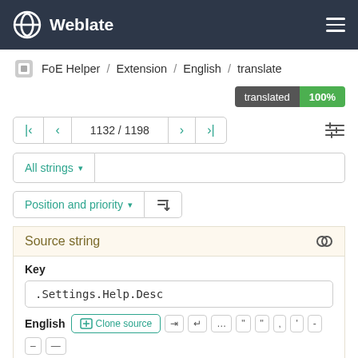Weblate
FoE Helper / Extension / English / translate
translated 100%
1132 / 1198
All strings
Position and priority
Source string
Key
.Settings.Help.Desc
English
Clone source
There are several ways to get support: